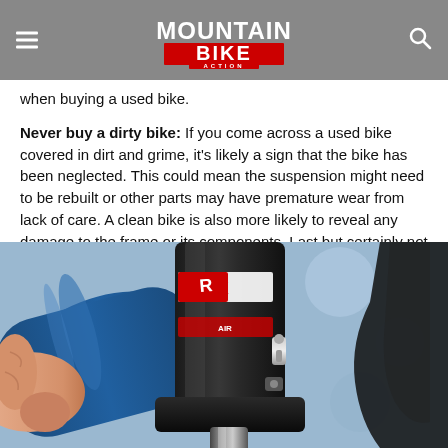Mountain Bike Action
when buying a used bike.
Never buy a dirty bike: If you come across a used bike covered in dirt and grime, it's likely a sign that the bike has been neglected. This could mean the suspension might need to be rebuilt or other parts may have premature wear from lack of care. A clean bike is also more likely to reveal any damage to the frame or its components. Last but certainly not least, a clean bike shows a rider has pride in his or her bike.
[Figure (photo): Close-up photo of a mountain bike rear shock absorber/suspension component, showing a black shock body with red branding stickers, an air valve, and a blue frame tube in the background. A hand is partially visible holding the component.]